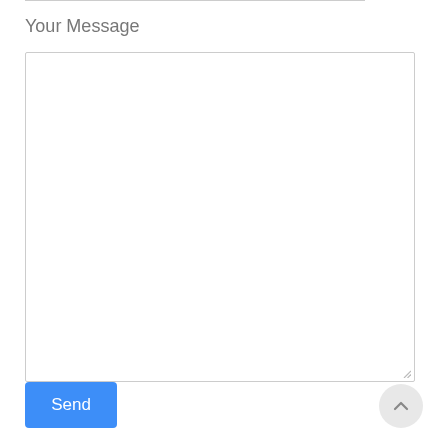Your Message
[Figure (screenshot): Empty textarea form field with a light gray border, used for composing a message.]
Send
[Figure (other): Scroll-to-top circular button with an upward chevron arrow icon.]